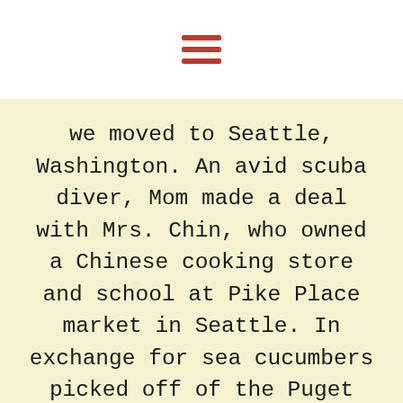[Figure (other): Hamburger menu icon with three horizontal red lines]
we moved to Seattle, Washington. An avid scuba diver, Mom made a deal with Mrs. Chin, who owned a Chinese cooking store and school at Pike Place market in Seattle. In exchange for sea cucumbers picked off of the Puget Sound's sandy floor, Mom received cooking classes. This is a photo of a sea cucumber – a Chinese delicacy.
[Figure (other): Dark grey circular back-to-top button with a white upward chevron arrow]